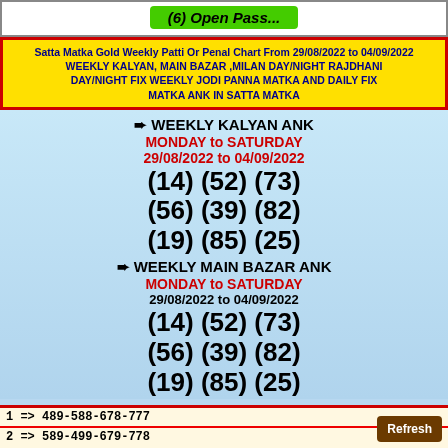(6) Open Pass...
Satta Matka Gold Weekly Patti Or Penal Chart From 29/08/2022 to 04/09/2022 WEEKLY KALYAN, MAIN BAZAR ,MILAN DAY/NIGHT RAJDHANI DAY/NIGHT FIX WEEKLY JODI PANNA MATKA AND DAILY FIX MATKA ANK IN SATTA MATKA
➨ WEEKLY KALYAN ANK
MONDAY to SATURDAY
29/08/2022 to 04/09/2022
(14) (52) (73)
(56) (39) (82)
(19) (85) (25)
➨ WEEKLY MAIN BAZAR ANK
MONDAY to SATURDAY
29/08/2022 to 04/09/2022
(14) (52) (73)
(56) (39) (82)
(19) (85) (25)
1 => 489-588-678-777
2 => 589-499-679-778